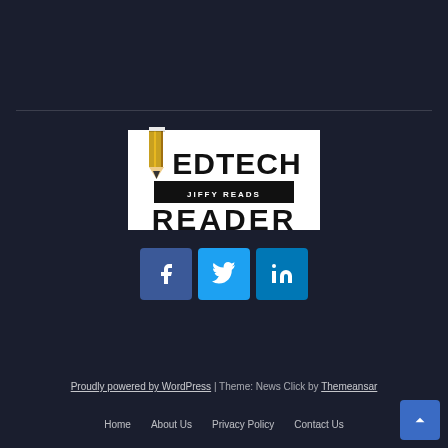[Figure (logo): EdTech Reader logo with a yellow pencil icon, 'EDTECH' in bold black text, a black banner with 'JIFFY READS' in white, and 'READER' in bold black text below]
[Figure (infographic): Three social media icon buttons: Facebook (blue square with f icon), Twitter (light blue square with bird icon), LinkedIn (teal square with in icon)]
Proudly powered by WordPress | Theme: News Click by Themeansar
Home   About Us   Privacy Policy   Contact Us